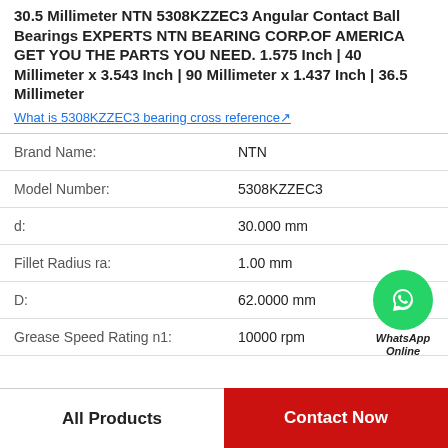30.5 Millimeter NTN 5308KZZEC3 Angular Contact Ball Bearings EXPERTS NTN BEARING CORP.OF AMERICA GET YOU THE PARTS YOU NEED. 1.575 Inch | 40 Millimeter x 3.543 Inch | 90 Millimeter x 1.437 Inch | 36.5 Millimeter
What is 5308KZZEC3 bearing cross reference↗
| Property | Value |
| --- | --- |
| Brand Name: | NTN |
| Model Number: | 5308KZZEC3 |
| d: | 30.000 mm |
| Fillet Radius ra: | 1.00 mm |
| D: | 62.0000 mm |
| Grease Speed Rating n1: | 10000 rpm |
[Figure (logo): WhatsApp Online green circle icon with phone handset, with text 'WhatsApp Online' below]
All Products | Contact Now